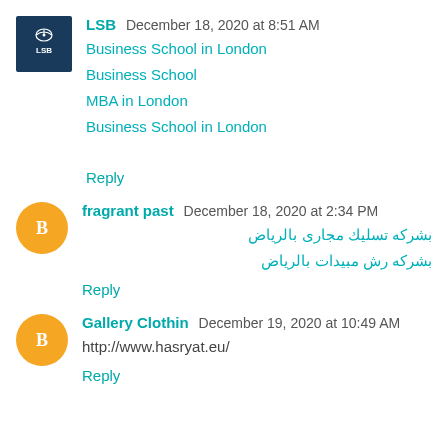LSB  December 18, 2020 at 8:51 AM
Business School in London
Business School
MBA in London
Business School in London
Reply
fragrant past  December 18, 2020 at 2:34 PM
بشركه تسليك مجارى بالرياض
بشركه رش مبيدات بالرياض
Reply
Gallery Clothin  December 19, 2020 at 10:49 AM
http://www.hasryat.eu/
Reply